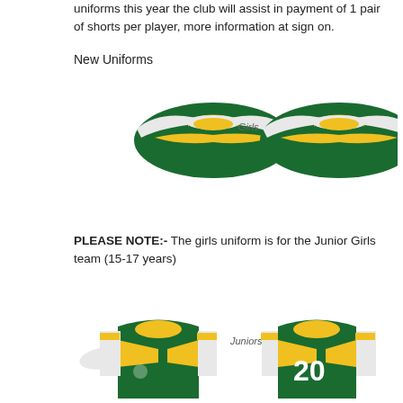uniforms this year the club will assist in payment of 1 pair of shorts per player, more information at sign on.
New Uniforms
[Figure (illustration): Girls rugby league jersey - front and back view, green and yellow design with white wing-like shoulders, label 'Girls' in center]
PLEASE NOTE:- The girls uniform is for the Junior Girls team (15-17 years)
[Figure (illustration): Juniors rugby league jersey - front and back view, green and yellow design with white sleeves, number 20 on back, label 'Juniors' in center]